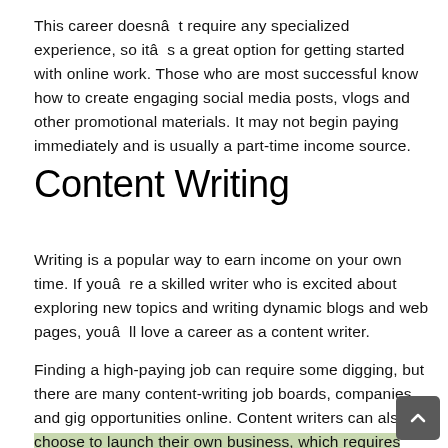This career doesn't require any specialized experience, so it's a great option for getting started with online work. Those who are most successful know how to create engaging social media posts, vlogs and other promotional materials. It may not begin paying immediately and is usually a part-time income source.
Content Writing
Writing is a popular way to earn income on your own time. If you're a skilled writer who is excited about exploring new topics and writing dynamic blogs and web pages, you'll love a career as a content writer.
Finding a high-paying job can require some digging, but there are many content-writing job boards, companies and gig opportunities online. Content writers can also choose to launch their own business, which requires some